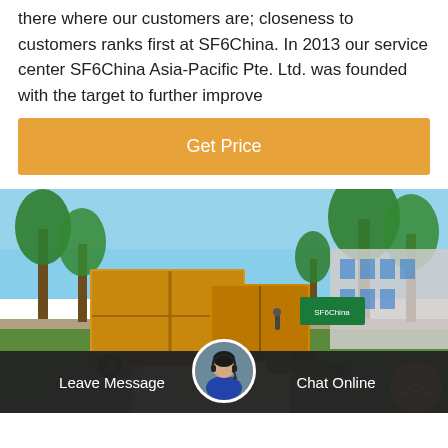there where our customers are; closeness to customers ranks first at SF6China. In 2013 our service center SF6China Asia-Pacific Pte. Ltd. was founded with the target to further improve
Get Price
[Figure (photo): Outdoor industrial facility with yellow trucks/trailers parked on a tree-lined road, industrial buildings in the background, blue sky]
Leave Message
Chat Online